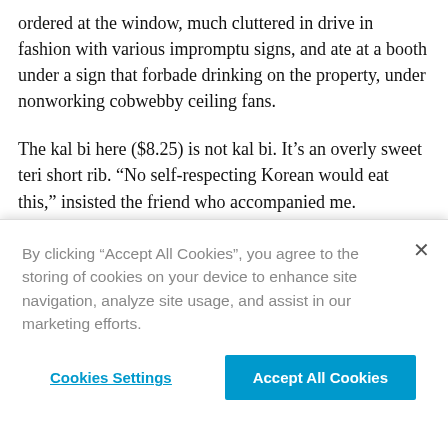ordered at the window, much cluttered in drive in fashion with various impromptu signs, and ate at a booth under a sign that forbade drinking on the property, under nonworking cobwebby ceiling fans.
The kal bi here ($8.25) is not kal bi. It's an overly sweet teri short rib. “No self-respecting Korean would eat this,” insisted the friend who accompanied me.
By clicking “Accept All Cookies”, you agree to the storing of cookies on your device to enhance site navigation, analyze site usage, and assist in our marketing efforts.
Cookies Settings
Accept All Cookies